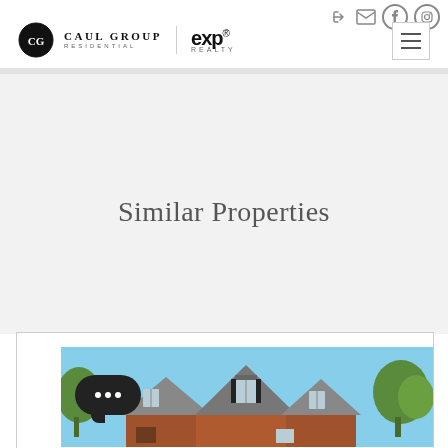Caul Group Residential | eXp Realty
Similar Properties
[Figure (photo): Exterior photo of a brick residential home with multiple gabled rooflines, dormers with dark shutters, and trees in background under blue sky]